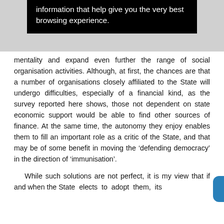[Figure (screenshot): Black banner/tooltip overlay with white text reading 'information that help give you the very best browsing experience.']
mentality and expand even further the range of social organisation activities. Although, at first, the chances are that a number of organisations closely affiliated to the State will undergo difficulties, especially of a financial kind, as the survey reported here shows, those not dependent on state economic support would be able to find other sources of finance. At the same time, the autonomy they enjoy enables them to fill an important role as a critic of the State, and that may be of some benefit in moving the 'defending democracy' in the direction of 'immunisation'.
While such solutions are not perfect, it is my view that if and when the State elects to adopt them, its